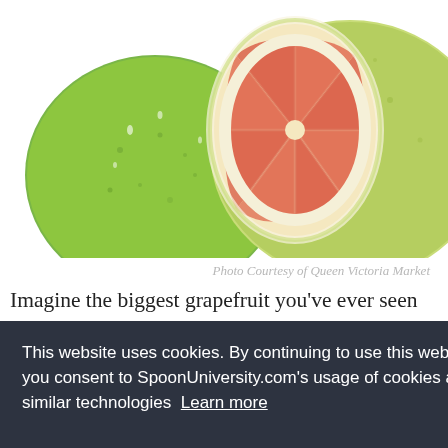[Figure (photo): Two green pomelos/grapefruits on white background — one whole and one cut in half showing pink flesh interior]
Photo Courtesy of Queen Victoria Market
Imagine the biggest grapefruit you've ever seen and then imagine it 7 times bigger. Now you have a pomelo, which is basically grapefruit's cousin on steroids. Once
[Figure (screenshot): Ad banner showing Smoothie King logo with Dine-in checkmark, Curbside pickup checkmark, Delivery X mark, and navigation arrow icon]
This website uses cookies. By continuing to use this website, you consent to SpoonUniversity.com's usage of cookies and similar technologies Learn more
Got it!